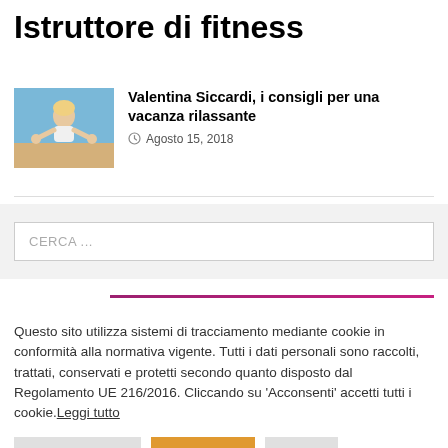Istruttore di fitness
[Figure (photo): Photo of Valentina Siccardi, a fitness instructor, posing outdoors]
Valentina Siccardi, i consigli per una vacanza rilassante
Agosto 15, 2018
CERCA ...
Questo sito utilizza sistemi di tracciamento mediante cookie in conformità alla normativa vigente. Tutti i dati personali sono raccolti, trattati, conservati e protetti secondo quanto disposto dal Regolamento UE 216/2016. Cliccando su 'Acconsenti' accetti tutti i cookie. Leggi tutto
Cookie Settings
Accetta tutti
Rifiuta